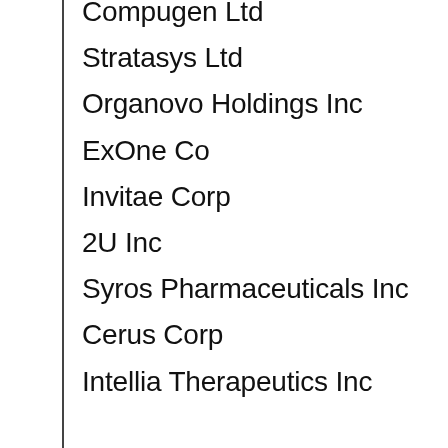Compugen Ltd
Stratasys Ltd
Organovo Holdings Inc
ExOne Co
Invitae Corp
2U Inc
Syros Pharmaceuticals Inc
Cerus Corp
Intellia Therapeutics Inc